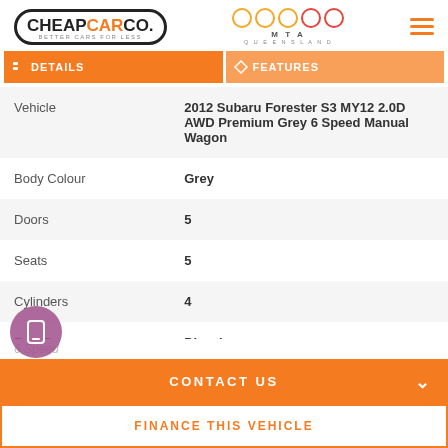CHEAPCARCO. BETTER CARS FOR LESS | MTA QUEENSLAND
| Field | Value |
| --- | --- |
| Vehicle | 2012 Subaru Forester S3 MY12 2.0D AWD Premium Grey 6 Speed Manual Wagon |
| Body Colour | Grey |
| Doors | 5 |
| Seats | 5 |
| Cylinders | 4 |
| Fuel Type | Diesel |
CONTACT US
FINANCE THIS VEHICLE